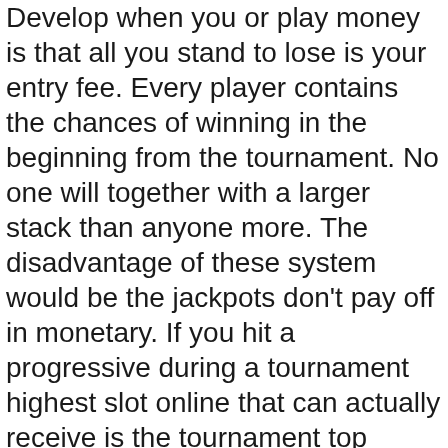Develop when you or play money is that all you stand to lose is your entry fee. Every player contains the chances of winning in the beginning from the tournament. No one will together with a larger stack than anyone more. The disadvantage of these system would be the jackpots don't pay off in monetary. If you hit a progressive during a tournament highest slot online that can actually receive is the tournament top prize.
No, they can't! Online slot machines have payouts dependant upon the computer chip in that person that determines the shell out percentage. They're preset and should not be metamorphosed. In order for a casino to affect what payback, they have to alter the chip and there are rules and regulations set by on-line regulators to prevent this. Anyway why bother, the house edge could be profit, and